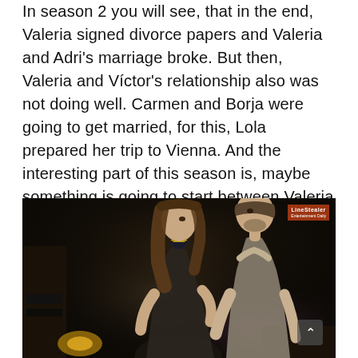In season 2 you will see, that in the end, Valeria signed divorce papers and Valeria and Adri's marriage broke. But then, Valeria and Víctor's relationship also was not doing well. Carmen and Borja were going to get married, for this, Lola prepared her trip to Vienna. And the interesting part of this season is, maybe something is going to start between Valeria and Bruno, a new author for Valeria's editors.
[Figure (photo): A woman and a man in a close, intimate pose in a dimly lit setting. The woman has long brown hair and wears a dark floral dress; the man stands behind her in a light shirt. A small red watermark/logo appears in the top-right corner. A scroll-up arrow button is visible at the bottom-right.]